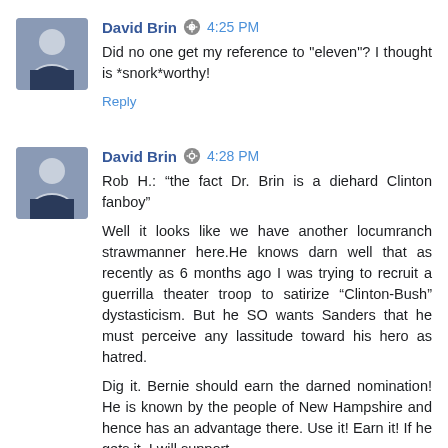David Brin  4:25 PM
Did no one get my reference to "eleven"? I thought is *snork*worthy!
Reply
David Brin  4:28 PM
Rob H.: “the fact Dr. Brin is a diehard Clinton fanboy”
Well it looks like we have another locumranch strawmanner here.He knows darn well that as recently as 6 months ago I was trying to recruit a guerrilla theater troop to satirize “Clinton-Bush” dystasticism. But he SO wants Sanders that he must perceive any lassitude toward his hero as hatred.
Dig it. Bernie should earn the darned nomination! He is known by the people of New Hampshire and hence has an advantage there. Use it! Earn it! If he gets it, I will support